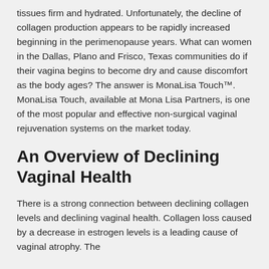tissues firm and hydrated. Unfortunately, the decline of collagen production appears to be rapidly increased beginning in the perimenopause years. What can women in the Dallas, Plano and Frisco, Texas communities do if their vagina begins to become dry and cause discomfort as the body ages? The answer is MonaLisa Touch™. MonaLisa Touch, available at Mona Lisa Partners, is one of the most popular and effective non-surgical vaginal rejuvenation systems on the market today.
An Overview of Declining Vaginal Health
There is a strong connection between declining collagen levels and declining vaginal health. Collagen loss caused by a decrease in estrogen levels is a leading cause of vaginal atrophy. The